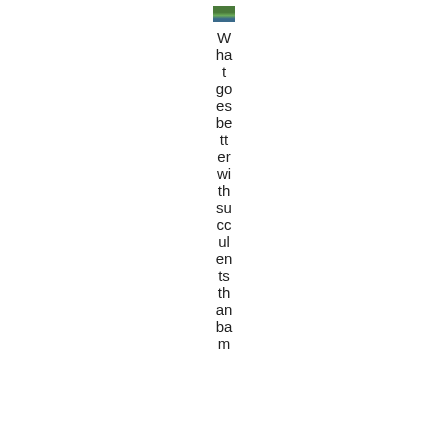[Figure (photo): Small thumbnail image, appears to be a landscape or nature photo]
What goes better with succulents than bamboo m